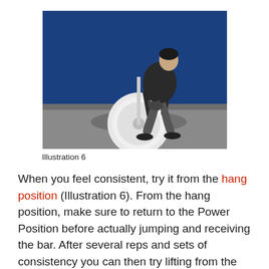[Figure (photo): Athlete in hang position lifting a barbell with weight plates, against a blue background. The person is in a crouched position with the barbell near the floor.]
Illustration 6
When you feel consistent, try it from the hang position (Illustration 6). From the hang position, make sure to return to the Power Position before actually jumping and receiving the bar. After several reps and sets of consistency you can then try lifting from the ground.